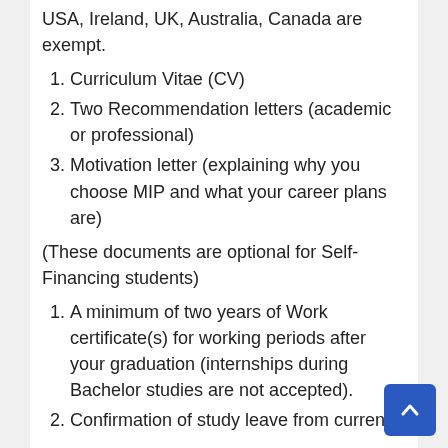USA, Ireland, UK, Australia, Canada are exempt.
1. Curriculum Vitae (CV)
2. Two Recommendation letters (academic or professional)
3. Motivation letter (explaining why you choose MIP and what your career plans are)
(These documents are optional for Self-Financing students)
1. A minimum of two years of Work certificate(s) for working periods after your graduation (internships during Bachelor studies are not accepted).
2. Confirmation of study leave from current